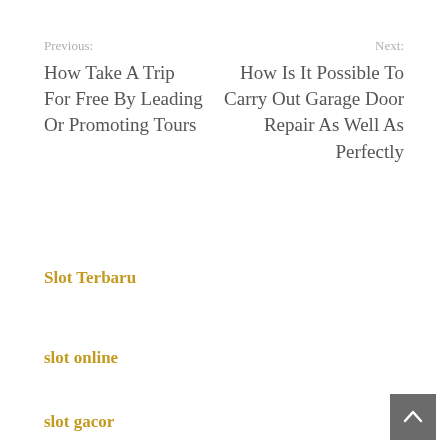Previous: How Take A Trip For Free By Leading Or Promoting Tours
Next: How Is It Possible To Carry Out Garage Door Repair As Well As Perfectly
Slot Terbaru
slot online
slot gacor